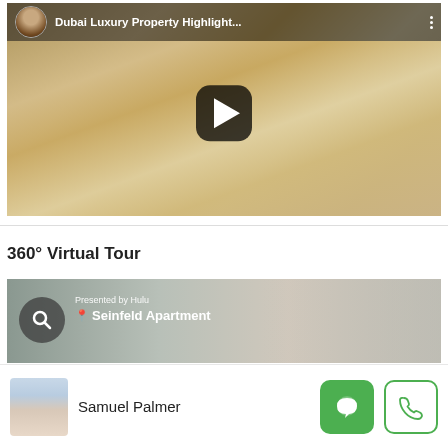[Figure (screenshot): YouTube-style video thumbnail showing a Dubai luxury property interior with glass staircase, title 'Dubai Luxury Property Highlight...' with avatar and play button overlay]
360° Virtual Tour
[Figure (screenshot): 360 virtual tour thumbnail showing 'Presented by Hulu' and 'Seinfeld Apartment' with search/location icon overlay]
[Figure (photo): Agent profile photo of Samuel Palmer with chat and call action buttons]